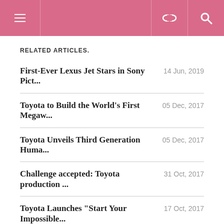Navigation header with menu, link, and search icons
RELATED ARTICLES.
First-Ever Lexus Jet Stars in Sony Pict... | 14 Jun, 2019
Toyota to Build the World's First Megaw... | 05 Dec, 2017
Toyota Unveils Third Generation Huma... | 05 Dec, 2017
Challenge accepted: Toyota production ... | 31 Oct, 2017
Toyota Launches "Start Your Impossible... | 17 Oct, 2017
LEAVE A REPLY
Enter your comment here...